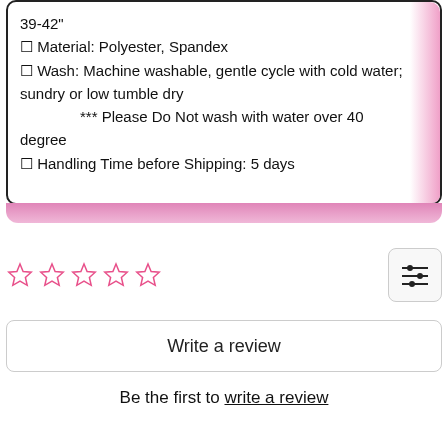39-42"
☐ Material: Polyester, Spandex
☐ Wash: Machine washable, gentle cycle with cold water; sundry or low tumble dry
*** Please Do Not wash with water over 40 degree
☐ Handling Time before Shipping: 5 days
[Figure (other): Five empty pink star rating icons]
[Figure (other): Filter/settings icon button]
Write a review
Be the first to write a review